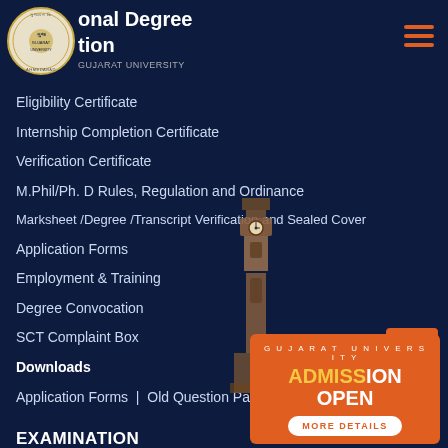Gujarat University navigation menu header with logo
onal Degree tion
Eligibility Certificate
Internship Completion Certificate
Verification Certificate
M.Phil/Ph. D Rules, Regulation and Ordinance
Marksheet /Degree /Transcript Verification and Sealed Cover
Application Forms
Employment & Training
Degree Convocation
SCT Complaint Box
Downloads
Application Forms  |  Old Question Papers  |  Syllabus
EXAMINATION
Circular
Online Exam Registration
Admit card for Regular Student
[Figure (illustration): Gujarat University clock tower illustration in the lower right area of the page]
[Figure (infographic): Gujarat University Admission Open banner with orange background, GUJARAT UNIVERSITY text, ADMISSION OPEN in yellow/white bold text, and MORE DETAILS button]